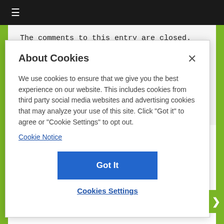≡
The comments to this entry are closed.
About Cookies
We use cookies to ensure that we give you the best experience on our website. This includes cookies from third party social media websites and advertising cookies that may analyze your use of this site. Click "Got it" to agree or "Cookie Settings" to opt out.
Cookie Notice
Got It
Cookies Settings